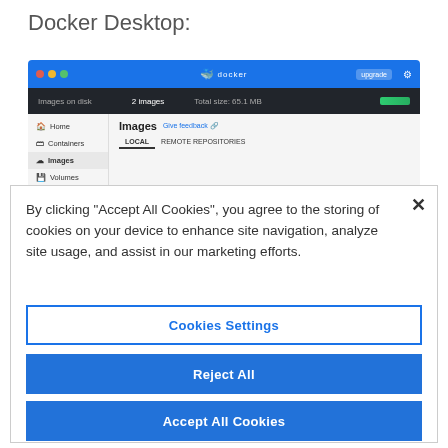Docker Desktop:
[Figure (screenshot): Docker Desktop application window showing Images section with sidebar navigation (Home, Containers, Images, Volumes), a top bar showing 'Images on disk', and the Images panel with Local/Remote Repositories tabs. A cookie consent modal overlays the bottom portion.]
By clicking “Accept All Cookies”, you agree to the storing of cookies on your device to enhance site navigation, analyze site usage, and assist in our marketing efforts.
Cookies Settings
Reject All
Accept All Cookies